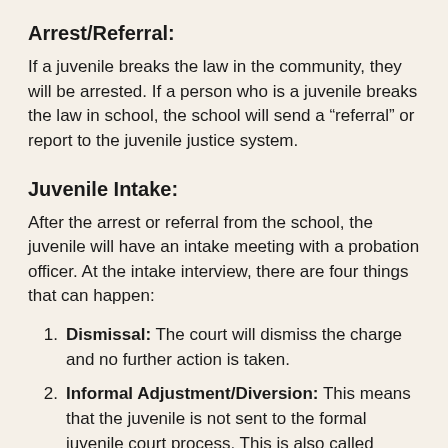Arrest/Referral:
If a juvenile breaks the law in the community, they will be arrested. If a person who is a juvenile breaks the law in school, the school will send a “referral” or report to the juvenile justice system.
Juvenile Intake:
After the arrest or referral from the school, the juvenile will have an intake meeting with a probation officer. At the intake interview, there are four things that can happen:
Dismissal: The court will dismiss the charge and no further action is taken.
Informal Adjustment/Diversion: This means that the juvenile is not sent to the formal juvenile court process. This is also called being “diverted”.